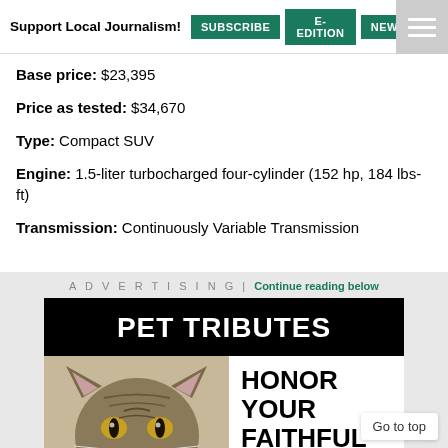Support Local Journalism! SUBSCRIBE E-EDITION NEWSLETTER
Base price: $23,395
Price as tested: $34,670
Type: Compact SUV
Engine: 1.5-liter turbocharged four-cylinder (152 hp, 184 lbs-ft)
Transmission: Continuously Variable Transmission
ADVERTISING | Continue reading below
[Figure (illustration): Pet Tributes advertisement featuring a tabby cat photo with text: PET TRIBUTES - HONOR YOUR FAITHFUL FRIENDS]